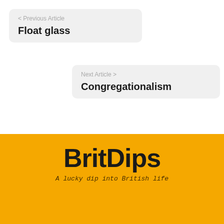< Previous Article
Float glass
Next Article >
Congregationalism
BritDips
A lucky dip into British life
LOOKING FOR SOMETHING SPECIFIC?
Search here...